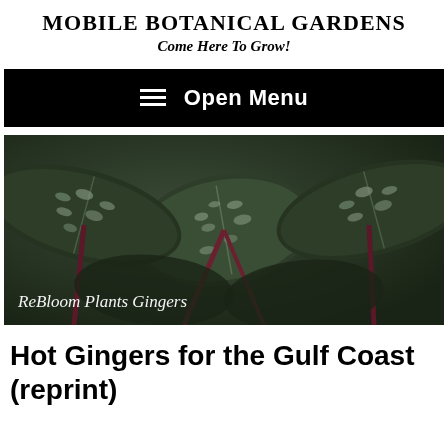Mobile Botanical Gardens
Come Here To Grow!
[Figure (other): Black navigation bar with hamburger menu icon and text 'Open Menu']
[Figure (photo): Close-up photograph of tropical ginger plant leaves with silvery-white speckled patterns on dark green foliage with reddish stems. Text overlay reads 'ReBloom Plants  Gingers']
Hot Gingers for the Gulf Coast (reprint)